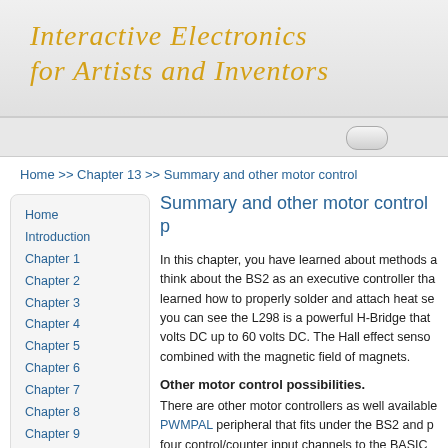Interactive Electronics for Artists and Inventors
Home >> Chapter 13 >> Summary and other motor control
Summary and other motor control p
Home
Introduction
Chapter 1
Chapter 2
Chapter 3
Chapter 4
Chapter 5
Chapter 6
Chapter 7
Chapter 8
Chapter 9
Chapter 10
Chapter 11
Chapter 12
In this chapter, you have learned about methods a think about the BS2 as an executive controller tha learned how to properly solder and attach heat se you can see the L298 is a powerful H-Bridge that volts DC up to 60 volts DC. The Hall effect senso combined with the magnetic field of magnets.
Other motor control possibilities.
There are other motor controllers as well available PWMPAL peripheral that fits under the BS2 and p four control/counter input channels to the BASIC designed to function as a versatile DC motor cont